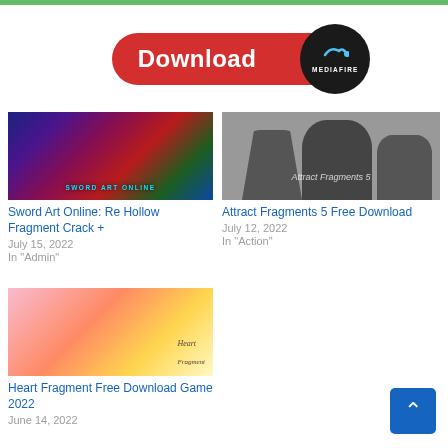[Figure (illustration): Red Download button with MediaFire circular logo on the right. Button is pill-shaped red with white bold 'Download' text; MediaFire badge is dark circle with blue flame icon and 'MEDIAFIRE' text.]
[Figure (illustration): Thumbnail for Sword Art Online: Re Hollow Fragment showing anime characters with 'SWORD ART ONLINE' label at bottom]
Sword Art Online: Re Hollow Fragment Crack +
July 15, 2022
In "Admin"
[Figure (illustration): Thumbnail for Attract Fragments 5 showing silhouette figures with 'Attract Fragments 5' overlay text]
Attract Fragments 5 Free Download
July 12, 2022
In "Action"
[Figure (illustration): Thumbnail for Heart Fragment Free Download Game 2022 showing anime girl with cursive 'Heart Fragment' overlay text]
Heart Fragment Free Download Game 2022
June 14, 2022